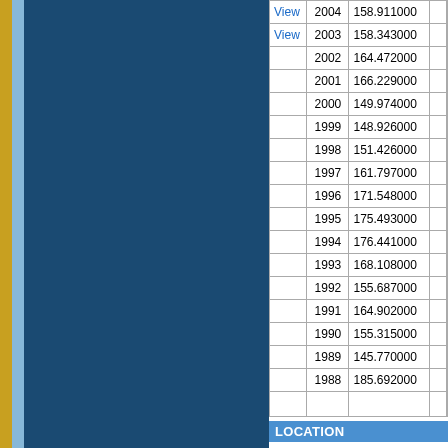|  | Year | Value |  |
| --- | --- | --- | --- |
| View | 2004 | 158.911000 |  |
| View | 2003 | 158.343000 |  |
|  | 2002 | 164.472000 |  |
|  | 2001 | 166.229000 |  |
|  | 2000 | 149.974000 |  |
|  | 1999 | 148.926000 |  |
|  | 1998 | 151.426000 |  |
|  | 1997 | 161.797000 |  |
|  | 1996 | 171.548000 |  |
|  | 1995 | 175.493000 |  |
|  | 1994 | 176.441000 |  |
|  | 1993 | 168.108000 |  |
|  | 1992 | 155.687000 |  |
|  | 1991 | 164.902000 |  |
|  | 1990 | 155.315000 |  |
|  | 1989 | 145.770000 |  |
|  | 1988 | 185.692000 |  |
|  |  |  |  |
LOCATION
| Field | Value |
| --- | --- |
| Census Tract: | 41200 |
| Census Block: | 1003 |
| School District: | 500 |
| City/Ward/Precinct: | 1-3 -4 |